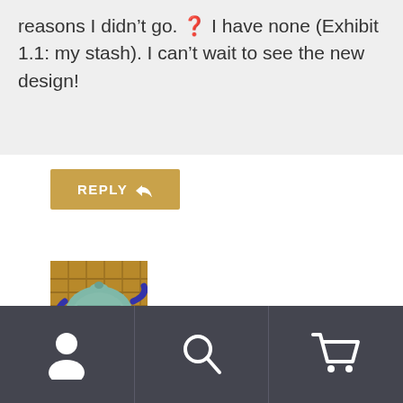reasons I didn't go. ❓ I have none (Exhibit 1.1: my stash). I can't wait to see the new design!
REPLY
[Figure (photo): A teapot with a teal/green knitted tea cozy on a wicker surface, with blue handles visible.]
Ruth
October 21, 2010
[Figure (infographic): Bottom navigation bar with three icons: user/person icon, search/magnifying glass icon, and shopping cart icon on a dark background.]